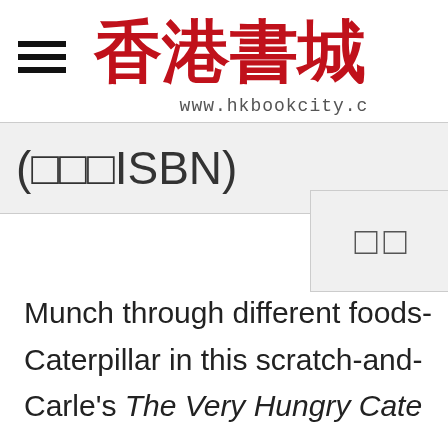香港書城 www.hkbookcity.c
(□□□ISBN)
□□
Munch through different foods- Caterpillar in this scratch-and- Carle's The Very Hungry Cate